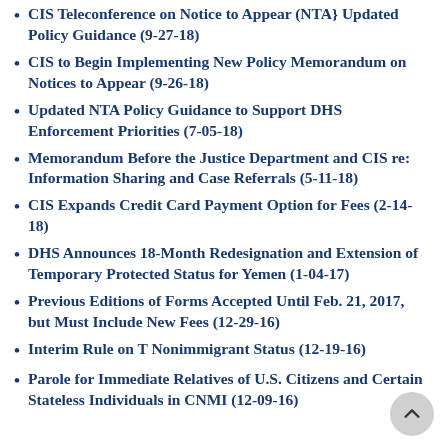CIS Teleconference on Notice to Appear (NTA} Updated Policy Guidance (9-27-18)
CIS to Begin Implementing New Policy Memorandum on Notices to Appear (9-26-18)
Updated NTA Policy Guidance to Support DHS Enforcement Priorities (7-05-18)
Memorandum Before the Justice Department and CIS re: Information Sharing and Case Referrals (5-11-18)
CIS Expands Credit Card Payment Option for Fees (2-14-18)
DHS Announces 18-Month Redesignation and Extension of Temporary Protected Status for Yemen (1-04-17)
Previous Editions of Forms Accepted Until Feb. 21, 2017, but Must Include New Fees (12-29-16)
Interim Rule on T Nonimmigrant Status (12-19-16)
Parole for Immediate Relatives of U.S. Citizens and Certain Stateless Individuals in CNMI (12-09-16)